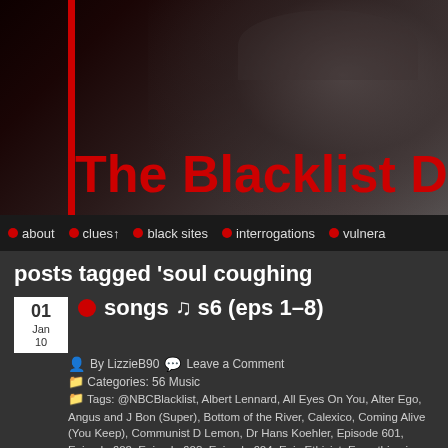[Figure (screenshot): Dark banner image of a person wearing a hat, with a red vertical bar on the left side]
The Blacklist Dec
about · clues↑ · black sites · interrogations · vulnera
posts tagged 'soul coughing
01 Jan 10 · songs ♫ s6 (eps 1–8)
By LizzieB90  Leave a Comment
Categories: 56 Music
Tags: @NBCBlacklist, Albert Lennard, All Eyes On You, Alter Ego, Angus and J Bon (Super), Bottom of the River, Calexico, Coming Alive (You Keep), Communist D Lemon, Dr Hans Koehler, Episode 601, Episode 602, Episode 603, Episode 604, Epis Ethicist, Everything is Just So Fine (unavail), Fly (I Am The), Fly (in your ointment), G Halpin, Hans Koehler, Hard Times, How Many Times, I Am The Fly, Isakov, Jackson is) (unavail), Keep Moving, Koehler, Lennard (Albert), Lynn (Vera), lyrics, Marko Ja Music S6A, music videos, My One And Only A, Nevil, Noah Jackson, One And Only Pawnbrokers, Pharmacist, playlist, Poison In The Water, Radical Face, Rae (Delta), R